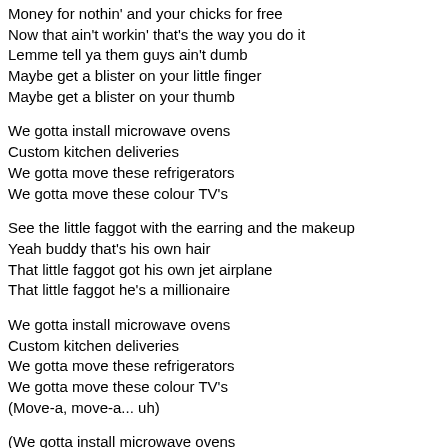Money for nothin' and your chicks for free
Now that ain't workin' that's the way you do it
Lemme tell ya them guys ain't dumb
Maybe get a blister on your little finger
Maybe get a blister on your thumb
We gotta install microwave ovens
Custom kitchen deliveries
We gotta move these refrigerators
We gotta move these colour TV's
See the little faggot with the earring and the makeup
Yeah buddy that's his own hair
That little faggot got his own jet airplane
That little faggot he's a millionaire
We gotta install microwave ovens
Custom kitchen deliveries
We gotta move these refrigerators
We gotta move these colour TV's
(Move-a, move-a... uh)
(We gotta install microwave ovens
Custom kitchen deliveries)
We gotta move these refrigerators
(We gotta move these colour TV's)
Look here, look here
I shoulda learned to play the guitar